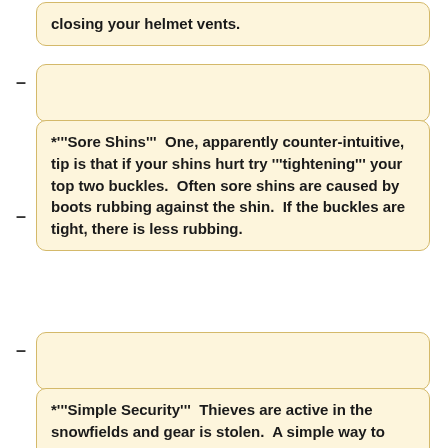closing your helmet vents.
*'''Sore Shins'''  One, apparently counter-intuitive, tip is that if your shins hurt try '''tightening''' your top two buckles.  Often sore shins are caused by boots rubbing against the shin.  If the buckles are tight, there is less rubbing.
*'''Simple Security'''  Thieves are active in the snowfields and gear is stolen.  A simple way to make things harder for thieves is to separate your